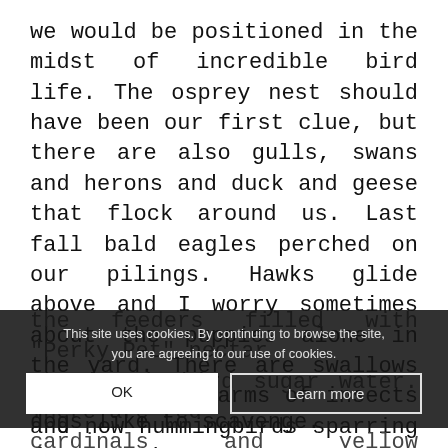we would be positioned in the midst of incredible bird life. The osprey nest should have been our first clue, but there are also gulls, swans and herons and duck and geese that flock around us. Last fall bald eagles perched on our pilings. Hawks glide above and I worry sometimes about the puppies alone in the yard. There are swallows feasting on swarms of insects and now hummingbirds sparring for position on the feeders filled with "Perky Pet" nectar aka hummingbird sugar water. There are red cardinals and yellow goldfinch. The gulls drop fish and crabs on the lawn which the dogs like to scavenge.
This site uses cookies. By continuing to browse the site, you are agreeing to our use of cookies.
OK
Learn more